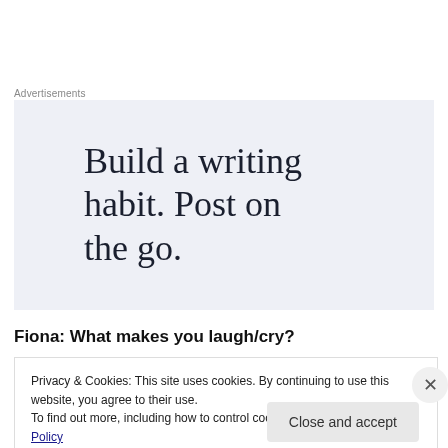Advertisements
[Figure (illustration): Advertisement banner with light blue-gray background and serif text reading: Build a writing habit. Post on the go.]
Fiona: What makes you laugh/cry?
Privacy & Cookies: This site uses cookies. By continuing to use this website, you agree to their use.
To find out more, including how to control cookies, see here: Cookie Policy
Close and accept